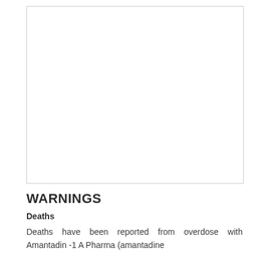[Figure (other): Blank white rectangle with light gray border, representing an image placeholder or empty figure region]
WARNINGS
Deaths
Deaths have been reported from overdose with Amantadin -1 A Pharma (amantadine